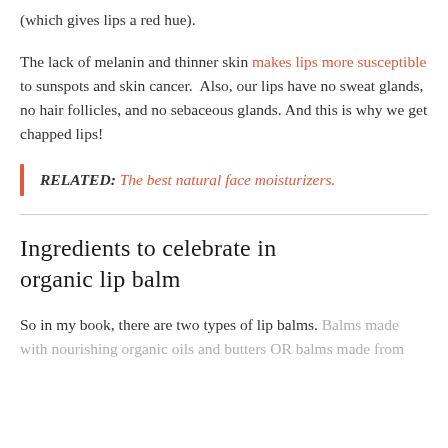(which gives lips a red hue).
The lack of melanin and thinner skin makes lips more susceptible to sunspots and skin cancer. Also, our lips have no sweat glands, no hair follicles, and no sebaceous glands. And this is why we get chapped lips!
RELATED: The best natural face moisturizers.
Ingredients to celebrate in organic lip balm
So in my book, there are two types of lip balms. Balms made with nourishing organic oils and butters OR balms made from